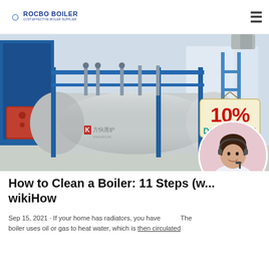ROCBO BOILER — COST-EFFECTIVE BOILER SUPPLIER
[Figure (photo): Industrial boiler equipment in a factory setting with blue metal casing and piping, with a 10% DISCOUNT badge overlaid in the bottom right corner.]
How to Clean a Boiler: 11 Steps (w... wikiHow
Sep 15, 2021 · If your home has radiators, you have a boiler. The boiler uses oil or gas to heat water, which is then circulated...